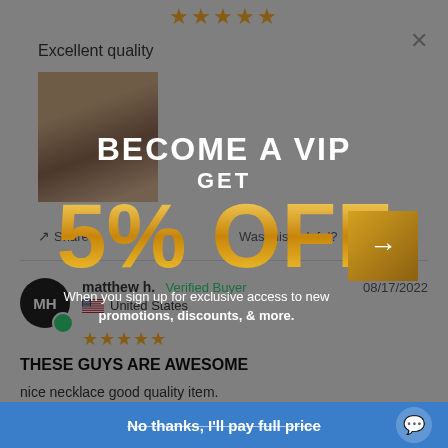★★★★★
Excellent quality
[Figure (photo): Hand holding a gold cross necklace]
Share   Was this helpful?  👍 0  👎 0
matthew h.  Verified Buyer   08/17/2022
🇺🇸 United States
★★★★★
THESE GUYS ARE AWESOME
nice necklace good quality item.
Share
[Figure (infographic): VIP popup overlay: BECOME A VIP / GET / 5% OFF / When you sign up for exclusive access to new promotions, discounts, & more. With arrow button.]
No thanks, I'll pay full price